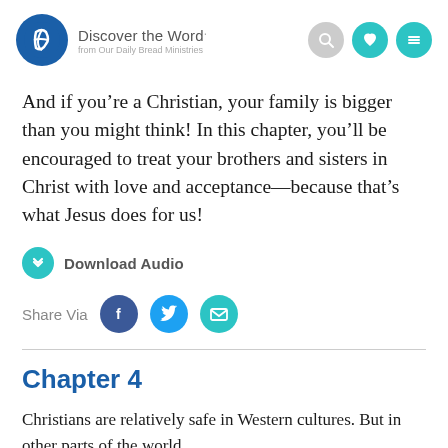Discover the Word. from Our Daily Bread Ministries
And if you’re a Christian, your family is bigger than you might think! In this chapter, you’ll be encouraged to treat your brothers and sisters in Christ with love and acceptance—because that’s what Jesus does for us!
Download Audio
Share Via
Chapter 4
Christians are relatively safe in Western cultures. But in other parts of the world,